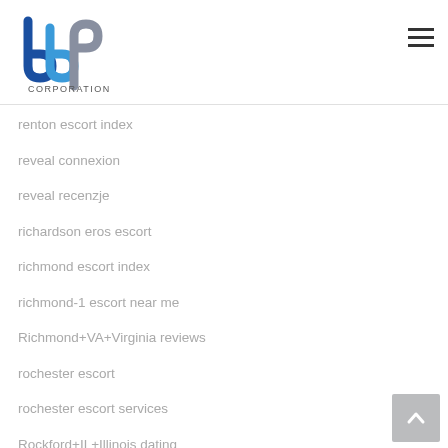[Figure (logo): BBP Corporation logo with blue and grey letter forms and 'CORPORATION' text below]
renton escort index
reveal connexion
reveal recenzje
richardson eros escort
richmond escort index
richmond-1 escort near me
Richmond+VA+Virginia reviews
rochester escort
rochester escort services
Rockford+IL+Illinois dating